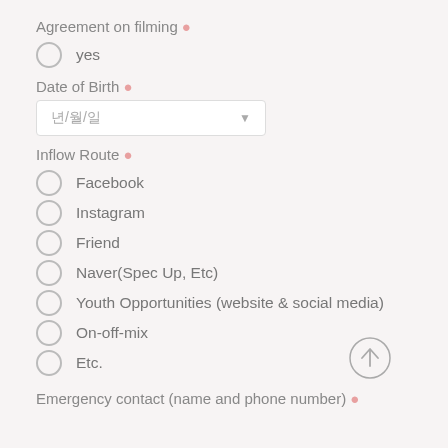Agreement on filming •
yes
Date of Birth •
년/월/일
Inflow Route •
Facebook
Instagram
Friend
Naver(Spec Up, Etc)
Youth Opportunities (website & social media)
On-off-mix
Etc.
Emergency contact (name and phone number) •